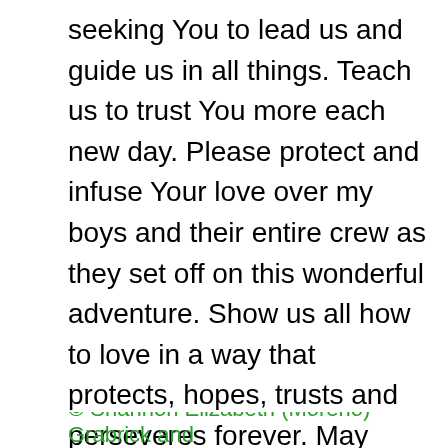seeking You to lead us and guide us in all things. Teach us to trust You more each new day. Please protect and infuse Your love over my boys and their entire crew as they set off on this wonderful adventure. Show us all how to love in a way that protects, hopes, trusts and perseveres forever. May many come into a lasting relationship with You. Be glorified O God, as we place all in Your hands, knowing that we can trust You in all things and at all times. Amen.
© Shannon Elizabeth (Moreno) Grabrick and